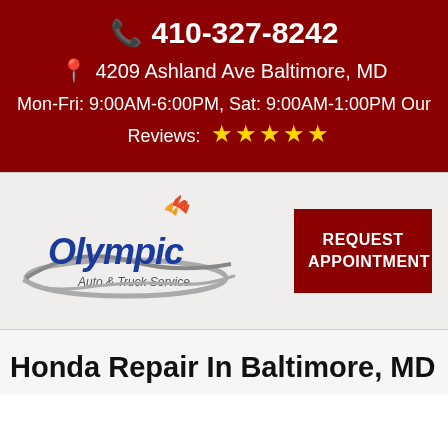📞 410-327-8242
📍 4209 Ashland Ave Baltimore, MD
Mon-Fri: 9:00AM-6:00PM, Sat: 9:00AM-1:00PM Our Reviews: ★★★★★
[Figure (logo): Olympic Auto & Truck Service logo with flame swoosh design and blue script text]
REQUEST APPOINTMENT
Honda Repair In Baltimore, MD